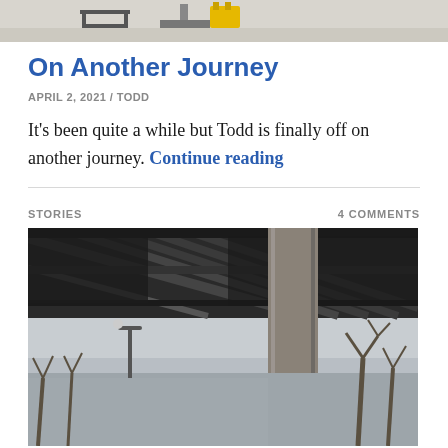[Figure (photo): Partial photo at top of page showing what appears to be construction equipment on a light-colored surface, cropped at top]
On Another Journey
APRIL 2, 2021 / TODD
It's been quite a while but Todd is finally off on another journey. Continue reading
STORIES    4 COMMENTS
[Figure (photo): Photo of the underside of a bridge or elevated structure, showing metal trusses and a concrete column, with bare trees visible in the background against a grey sky]